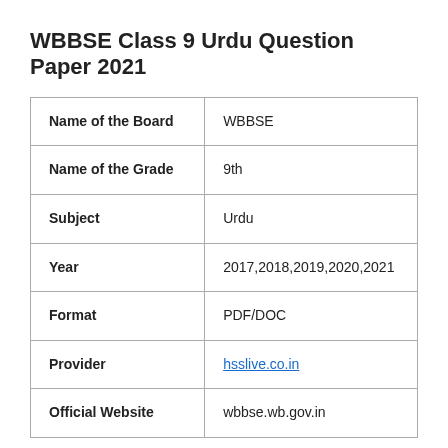WBBSE Class 9 Urdu Question Paper 2021
| Name of the Board | WBBSE |
| Name of the Grade | 9th |
| Subject | Urdu |
| Year | 2017,2018,2019,2020,2021 |
| Format | PDF/DOC |
| Provider | hsslive.co.in |
| Official Website | wbbse.wb.gov.in |